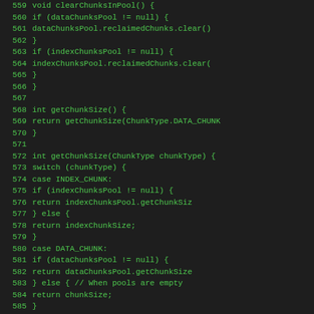Code listing lines 559-587, Java source code showing clearChunksInPool, getChunkSize methods